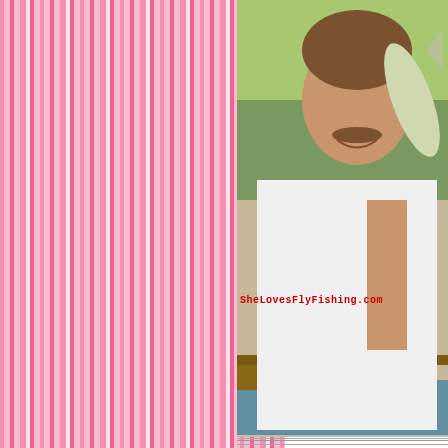[Figure (photo): Man in white t-shirt smiling, holding a fish, outdoors near water. Website watermark 'SheLovesFlyFishing.com' overlaid on image in red pixelated text.]
Things you need: Fly Fishin...
You've GOT to check out t...
Go To Home Pag...
SheLovesFlyFishin...
all rights reserve...
Click to view our Privac...